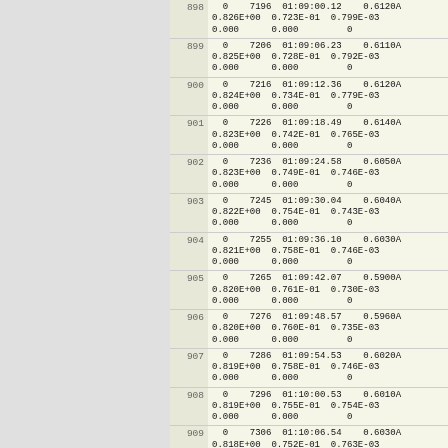| Row | Data |
| --- | --- |
| 898 | 0    7196  01:09:00.12    0.6120A
0.826E+00  0.723E-01  0.799E-03
0.000      0.000         0 |
| 899 | 0    7206  01:09:06.23    0.6110A
0.825E+00  0.728E-01  0.792E-03
0.000      0.000         0 |
| 900 | 0    7216  01:09:12.36    0.6120A
0.824E+00  0.734E-01  0.779E-03
0.000      0.000         0 |
| 901 | 0    7226  01:09:18.49    0.6140A
0.823E+00  0.742E-01  0.765E-03
0.000      0.000         0 |
| 902 | 0    7236  01:09:24.58    0.6050A
0.823E+00  0.749E-01  0.746E-03
0.000      0.000         0 |
| 903 | 0    7245  01:09:30.04    0.6040A
0.822E+00  0.754E-01  0.743E-03
0.000      0.000         0 |
| 904 | 0    7255  01:09:36.10    0.6030A
0.821E+00  0.758E-01  0.746E-03
0.000      0.000         0 |
| 905 | 0    7265  01:09:42.07    0.5900A
0.820E+00  0.761E-01  0.730E-03
0.000      0.000         0 |
| 906 | 0    7276  01:09:48.57    0.5960A
0.820E+00  0.760E-01  0.735E-03
0.000      0.000         0 |
| 907 | 0    7286  01:09:54.53    0.6020A
0.819E+00  0.758E-01  0.746E-03
0.000      0.000         0 |
| 908 | 0    7296  01:10:00.53    0.6010A
0.819E+00  0.755E-01  0.754E-03
0.000      0.000         0 |
| 909 | 0    7306  01:10:06.54    0.6030A
0.818E+00  0.752E-01  0.763E-03
0.000      0.000         0 |